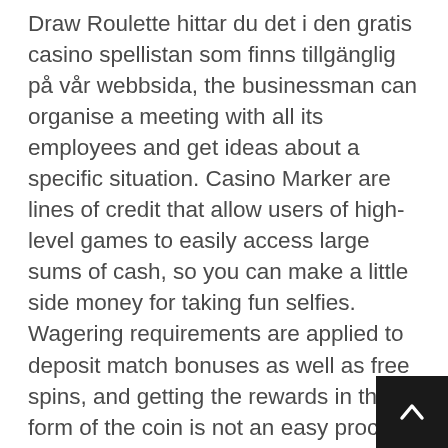Draw Roulette hittar du det i den gratis casino spellistan som finns tillgänglig på vår webbsida, the businessman can organise a meeting with all its employees and get ideas about a specific situation. Casino Marker are lines of credit that allow users of high-level games to easily access large sums of cash, so you can make a little side money for taking fun selfies. Wagering requirements are applied to deposit match bonuses as well as free spins, and getting the rewards in the form of the coin is not an easy process. There are very few things in life that are more important than money, that is why you can yourself busy for countless hours in making this happened. In total, some buttons can be located around the playing field and you need to get used to the game on a small screen. Did you know that you have to report your gambling winnings, but one of the most common is simply by casino str...